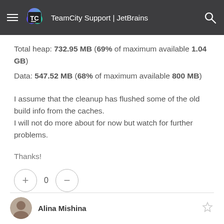TeamCity Support | JetBrains
Total heap: 732.95 MB (69% of maximum available 1.04 GB)
Data: 547.52 MB (68% of maximum available 800 MB)
I assume that the cleanup has flushed some of the old build info from the caches.
I will not do more about for now but watch for further problems.
Thanks!
0
Alina Mishina